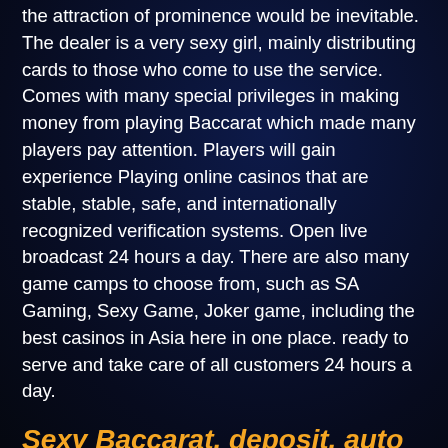the attraction of prominence would be inevitable. The dealer is a very sexy girl, mainly distributing cards to those who come to use the service. Comes with many special privileges in making money from playing Baccarat which made many players pay attention. Players will gain experience Playing online casinos that are stable, stable, safe, and internationally recognized verification systems. Open live broadcast 24 hours a day. There are also many game camps to choose from, such as SA Gaming, Sexy Game, Joker game, including the best casinos in Asia here in one place. ready to serve and take care of all customers 24 hours a day.
Sexy Baccarat, deposit, auto withdrawal, no minimum
Sexy Baccarat online casino gambling website That has been received a lot. Users who want to make money or for-profit baccarat players can place bets in real-time to